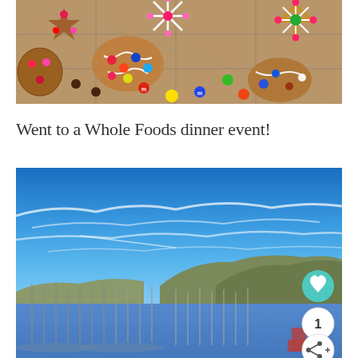[Figure (photo): Overhead photo of decorated gingerbread cookies with M&Ms and white icing on a cooling rack]
Went to a Whole Foods dinner event!
[Figure (photo): Scenic photo of a marina/harbor with sailboats, blue sky with wispy clouds, and hills in the background. Has heart button, count button showing '1', and share button overlaid on the right side.]